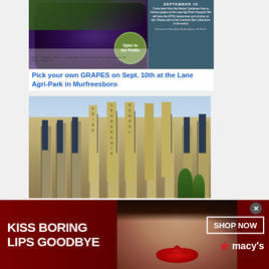[Figure (photo): Grapes hanging on vine with event flyer overlay — September 10 grape harvest event at Lane Agri-Park Vineyard in Murfreesboro, TN. Right side panel with dark teal background showing event details. 'Open to the Public' badge in green circle.]
Pick your own GRAPES on Sept. 10th at the Lane Agri-Park in Murfreesboro
[Figure (photo): Exterior photo of Siegel High School building — tan/brown multi-story building with vertical signage columns reading PRIDE, LEADERSHIP, SCHOOL letters.]
Siegel High School Celebrates Its AP
[Figure (other): Macy's advertisement banner with dark red background. Left text: KISS BORING LIPS GOODBYE. Center: woman's face with red lipstick. Right: SHOP NOW button and Macy's star logo.]